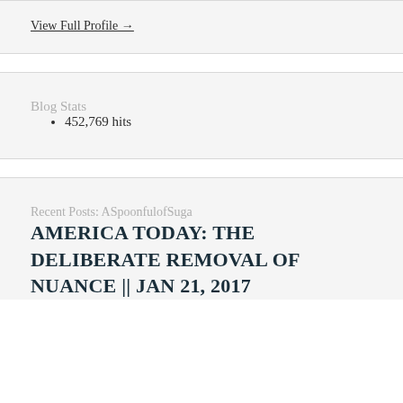View Full Profile →
Blog Stats
452,769 hits
Recent Posts: ASpoonfulofSuga
AMERICA TODAY: THE DELIBERATE REMOVAL OF NUANCE || JAN 21, 2017